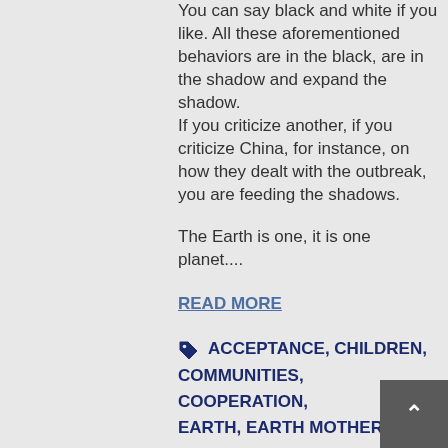You can say black and white if you like. All these aforementioned behaviors are in the black, are in the shadow and expand the shadow. If you criticize another, if you criticize China, for instance, on how they dealt with the outbreak, you are feeding the shadows.
The Earth is one, it is one planet....
READ MORE
ACCEPTANCE, CHILDREN, COMMUNITIES, COOPERATION, EARTH, EARTH MOTHER, EMBRACING, ENERGY HEALING, FAMILY, FORGIVENESS, GOD,